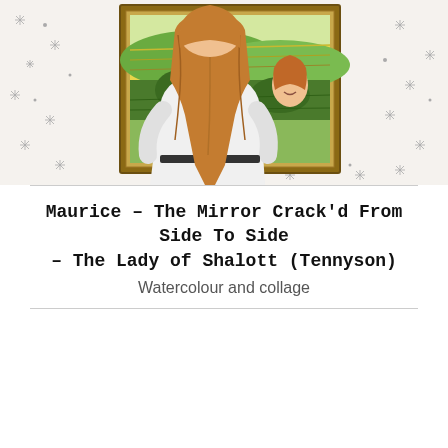[Figure (illustration): Watercolour and collage artwork showing a person with long reddish-blonde hair, viewed from behind, wearing a white outfit, standing before a large framed landscape painting. The background is white with silver snowflake/star decorative elements. The framed painting shows a countryside scene. In the reflection or within the painting, another face is visible.]
Maurice – The Mirror Crack'd From Side To Side – The Lady of Shalott (Tennyson)
Watercolour and collage